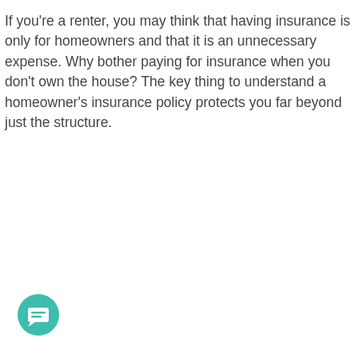If you're a renter, you may think that having insurance is only for homeowners and that it is an unnecessary expense. Why bother paying for insurance when you don't own the house? The key thing to understand a homeowner's insurance policy protects you far beyond just the structure.
[Figure (other): Teal circular chat/message icon button in the bottom left corner]